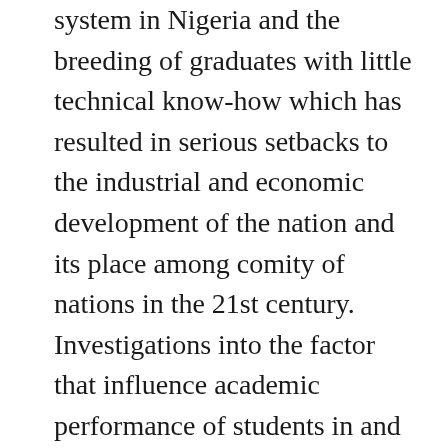system in Nigeria and the breeding of graduates with little technical know-how which has resulted in serious setbacks to the industrial and economic development of the nation and its place among comity of nations in the 21st century. Investigations into the factor that influence academic performance of students in and out-of-school could be trace to individual family or home. The family or home is an integral part of the society which is a sub-system of the social structure. It is an axiom that good homes breed a productive nation .This is the brain-child of why, every society aspires for